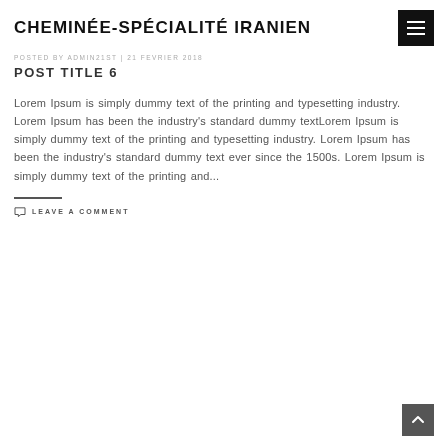CHEMINÉE-SPÉCIALITÉ IRANIEN
POSTED BY ADMIN21ST | 21 FEVRIER 2018
POST TITLE 6
Lorem Ipsum is simply dummy text of the printing and typesetting industry. Lorem Ipsum has been the industry's standard dummy textLorem Ipsum is simply dummy text of the printing and typesetting industry. Lorem Ipsum has been the industry's standard dummy text ever since the 1500s. Lorem Ipsum is simply dummy text of the printing and...
LEAVE A COMMENT